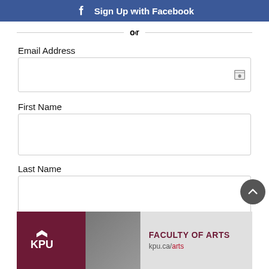[Figure (screenshot): Facebook Sign Up button with blue background and white Facebook logo icon]
or
Email Address
[Figure (screenshot): Email Address input field with contact card icon on the right]
First Name
[Figure (screenshot): First Name input field]
Last Name
[Figure (screenshot): Last Name input field]
Create a password
[Figure (screenshot): Password input field (partial)]
[Figure (logo): KPU Faculty of Arts banner advertisement with dark red logo on left, student photo, and text FACULTY OF ARTS kpu.ca/arts on grey background]